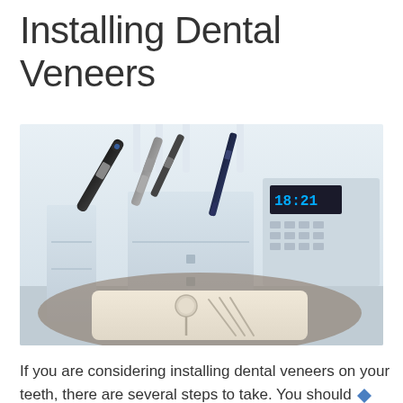Installing Dental Veneers
[Figure (photo): Dental office equipment: dental handpieces and tools hanging on a holder, a dental tray with mirror and instruments on a beige surface, and a dental control unit with a digital display in the background. Clean clinical setting with white cabinetry.]
If you are considering installing dental veneers on your teeth, there are several steps to take. You should